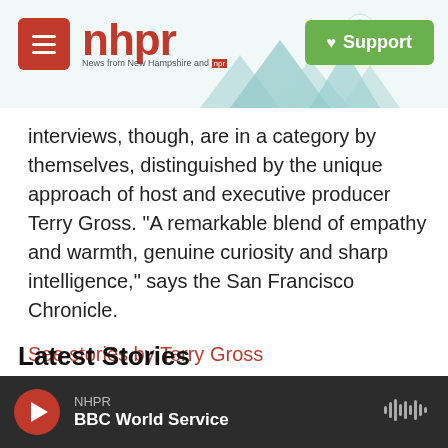[Figure (logo): NHPR (New Hampshire Public Radio) website header with hamburger menu button, red NHPR logo with mountain/radio tower background illustration, and green Support button]
interviews, though, are in a category by themselves, distinguished by the unique approach of host and executive producer Terry Gross. "A remarkable blend of empathy and warmth, genuine curiosity and sharp intelligence," says the San Francisco Chronicle.
See stories by Terry Gross
Latest Stories
NHPR
BBC World Service